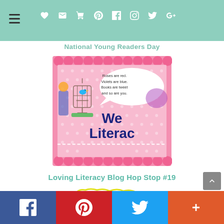Navigation header with menu icon and social icons
National Young Readers Day
[Figure (illustration): We Literacy blog hop image: pink polka-dot background with scalloped border, speech bubble reading 'Roses are red. Violets are blue. Books are tweet and so are you.' with a blue bird in a cage and large text 'We Literac[y]']
Loving Literacy Blog Hop Stop #19
[Figure (logo): Book Talk Thursday logo with colorful bubble letters on a cloud/blob shape outline]
Social share bar: Facebook, Pinterest, Twitter, Plus